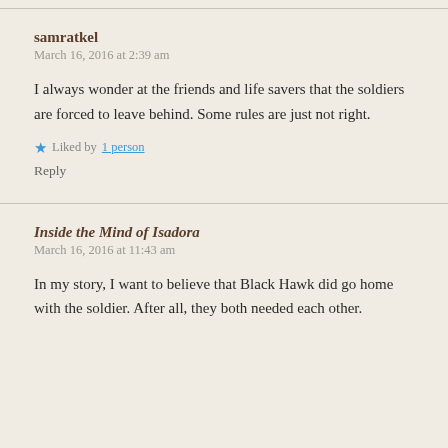samratkel
March 16, 2016 at 2:39 am
I always wonder at the friends and life savers that the soldiers are forced to leave behind. Some rules are just not right.
Liked by 1 person
Reply
Inside the Mind of Isadora
March 16, 2016 at 11:43 am
In my story, I want to believe that Black Hawk did go home with the soldier. After all, they both needed each other.